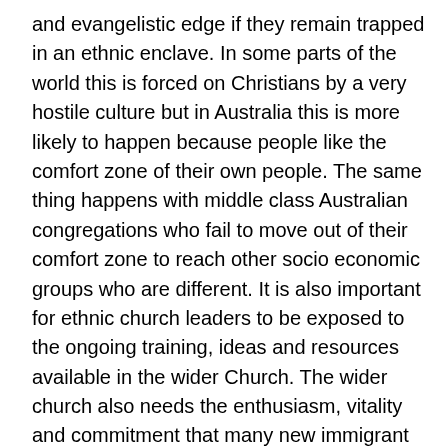and evangelistic edge if they remain trapped in an ethnic enclave. In some parts of the world this is forced on Christians by a very hostile culture but in Australia this is more likely to happen because people like the comfort zone of their own people. The same thing happens with middle class Australian congregations who fail to move out of their comfort zone to reach other socio economic groups who are different. It is also important for ethnic church leaders to be exposed to the ongoing training, ideas and resources available in the wider Church. The wider church also needs the enthusiasm, vitality and commitment that many new immigrant churches bring.
6. Leadership development.
The development of the next generation of leaders should begin as soon as possible and be part of the initial strategy for the work. The host congregation and the ethnic leaders